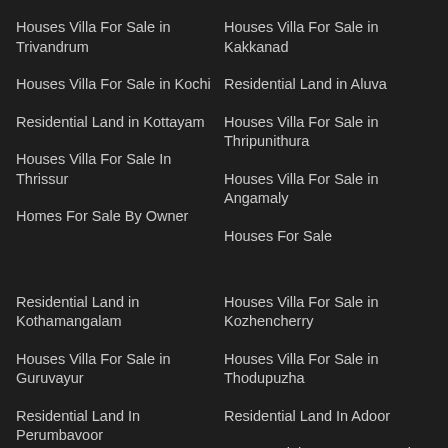Houses Villa For Sale in Trivandrum
Houses Villa For Sale in Kakkanad
Houses Villa For Sale in Kochi
Residential Land in Aluva
Residential Land in Kottayam
Houses Villa For Sale in Thripunithura
Houses Villa For Sale In Thrissur
Houses Villa For Sale in Angamaly
Homes For Sale By Owner
Houses For Sale
Residential Land in Kothamangalam
Houses Villa For Sale in Kozhencherry
Houses Villa For Sale in Guruvayur
Houses Villa For Sale in Thodupuzha
Residential Land In Perumbavoor
Residential Land In Adoor
Houses Villa For Sale in
Commercial Property For Sale